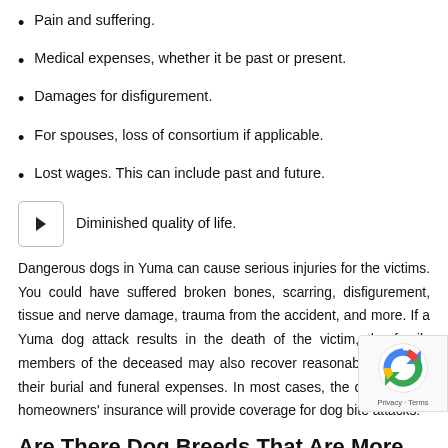Pain and suffering.
Medical expenses, whether it be past or present.
Damages for disfigurement.
For spouses, loss of consortium if applicable.
Lost wages. This can include past and future.
Diminished quality of life.
Dangerous dogs in Yuma can cause serious injuries for the victims. You could have suffered broken bones, scarring, disfigurement, tissue and nerve damage, trauma from the accident, and more. If a Yuma dog attack results in the death of the victim, the family members of the deceased may also recover reasonable costs for their burial and funeral expenses. In most cases, the dog owners' homeowners' insurance will provide coverage for dog bite attacks.
Are There Dog Breeds That Are More